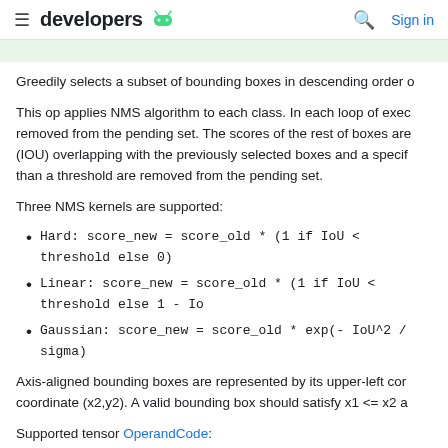developers [android icon] | [search] Sign in
Greedily selects a subset of bounding boxes in descending order o
This op applies NMS algorithm to each class. In each loop of exec removed from the pending set. The scores of the rest of boxes are (IOU) overlapping with the previously selected boxes and a specif than a threshold are removed from the pending set.
Three NMS kernels are supported:
Hard: score_new = score_old * (1 if IoU < threshold else 0)
Linear: score_new = score_old * (1 if IoU < threshold else 1 - Io
Gaussian: score_new = score_old * exp(- IoU^2 / sigma)
Axis-aligned bounding boxes are represented by its upper-left cor coordinate (x2,y2). A valid bounding box should satisfy x1 <= x2 a
Supported tensor OperandCode: